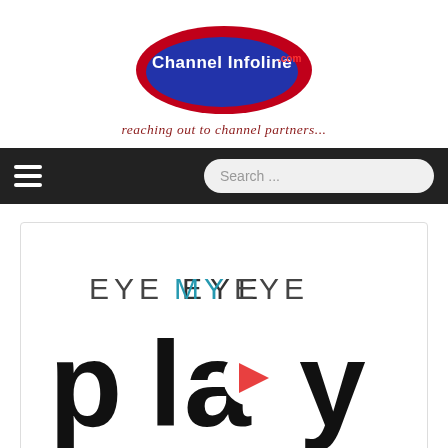[Figure (logo): Channel Infoline logo: blue oval with red arrow and white text 'Channel Infoline' with '.com' in red]
reaching out to channel partners...
[Figure (screenshot): Navigation bar with hamburger menu icon on left and search box on right with placeholder 'Search ...']
[Figure (logo): EyeMyEye Play logo: text 'EYEMYEYE' in dark grey with 'MY' in teal, below it 'play' in bold black with a red play button triangle inside the 'a']